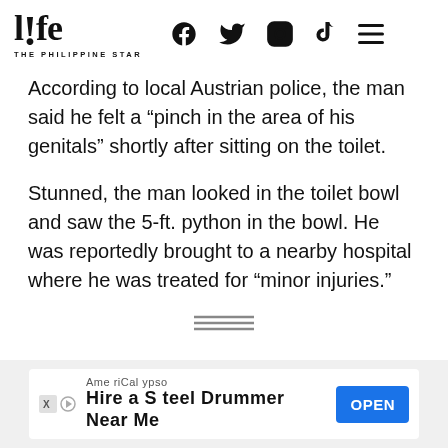life THE PHILIPPINE STAR
According to local Austrian police, the man said he felt a “pinch in the area of his genitals” shortly after sitting on the toilet.
Stunned, the man looked in the toilet bowl and saw the 5-ft. python in the bowl. He was reportedly brought to a nearby hospital where he was treated for “minor injuries.”
[Figure (other): Three horizontal lines icon (hamburger menu icon)]
AmeriCalypso
Hire a Steel Drummer Near Me
OPEN